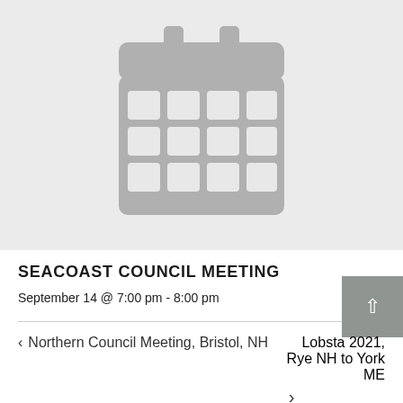[Figure (illustration): Gray calendar icon on light gray background]
SEACOAST COUNCIL MEETING
September 14 @ 7:00 pm - 8:00 pm
Northern Council Meeting, Bristol, NH
Lobsta 2021, Rye NH to York ME